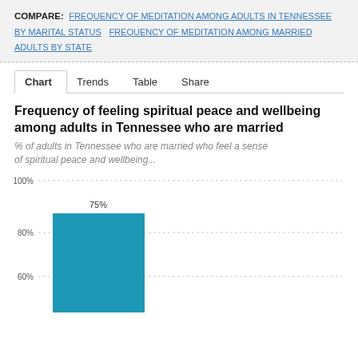COMPARE: FREQUENCY OF MEDITATION AMONG ADULTS IN TENNESSEE BY MARITAL STATUS  FREQUENCY OF MEDITATION AMONG MARRIED ADULTS BY STATE
Chart  Trends  Table  Share
Frequency of feeling spiritual peace and wellbeing among adults in Tennessee who are married
% of adults in Tennessee who are married who feel a sense of spiritual peace and wellbeing...
[Figure (bar-chart): Frequency of feeling spiritual peace and wellbeing among adults in Tennessee who are married]